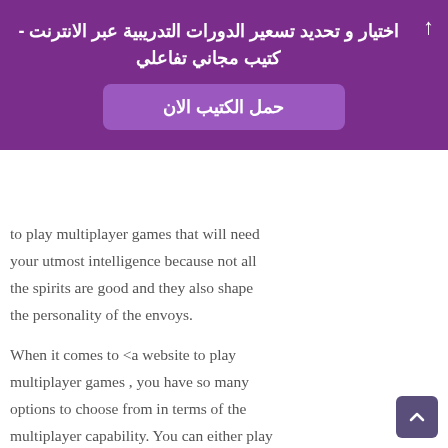اختيار و تحديد تسعير الدورات التدريبية عبر الانترنت - كتيب مجاني تفاعلي
حمل الكتيب الان
to play multiplayer games that will need your utmost intelligence because not all the spirits are good and they also shape the personality of the envoys.
When it comes to <a website to play multiplayer games , you have so many options to choose from in terms of the multiplayer capability. You can either play against random player or you can simply play with your closest friend.
Should you be looking top free mmorpg games, here is a website that offers these